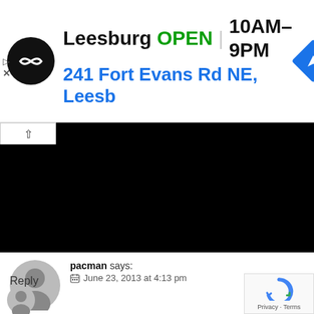[Figure (screenshot): Google Maps ad banner showing Leesburg store: logo, OPEN status, hours 10AM-9PM, address 241 Fort Evans Rd NE, Leesb, navigation icon]
[Figure (photo): Large black redacted/obscured image block with a white chevron-up button in top-left corner]
pacman says:
June 23, 2013 at 4:13 pm
Hi I tried the gulab jamuns today...but they started cracking. What do you think went wrong? Thanks.
Reply